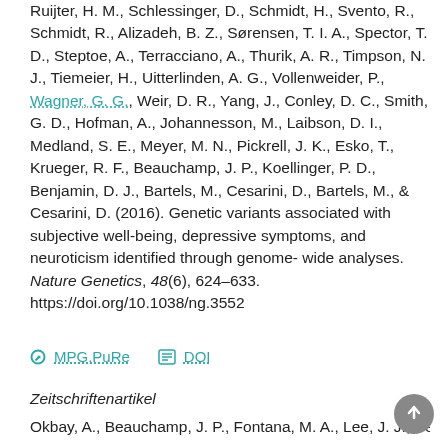Ruijter, H. M., Schlessinger, D., Schmidt, H., Svento, R., Schmidt, R., Alizadeh, B. Z., Sørensen, T. I. A., Spector, T. D., Steptoe, A., Terracciano, A., Thurik, A. R., Timpson, N. J., Tiemeier, H., Uitterlinden, A. G., Vollenweider, P., Wagner, G. G., Weir, D. R., Yang, J., Conley, D. C., Smith, G. D., Hofman, A., Johannesson, M., Laibson, D. I., Medland, S. E., Meyer, M. N., Pickrell, J. K., Esko, T., Krueger, R. F., Beauchamp, J. P., Koellinger, P. D., Benjamin, D. J., Bartels, M., Cesarini, D., Bartels, M., & Cesarini, D. (2016). Genetic variants associated with subjective well-being, depressive symptoms, and neuroticism identified through genome-wide analyses. Nature Genetics, 48(6), 624–633. https://doi.org/10.1038/ng.3552
MPG.PuRe   DOI
Zeitschriftenartikel
Okbay, A., Beauchamp, J. P., Fontana, M. A., Lee, J. J., Pe